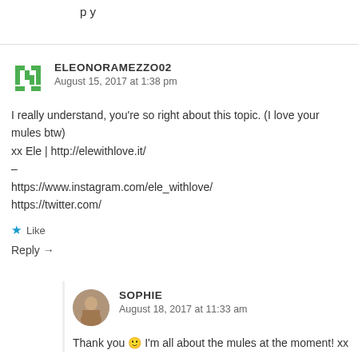p y
ELEONORAMEZZO02
August 15, 2017 at 1:38 pm
I really understand, you’re so right about this topic. (I love your mules btw)
xx Ele | http://elewithlove.it/
–
https://www.instagram.com/ele_withlove/
https://twitter.com/
★ Like
Reply →
SOPHIE
August 18, 2017 at 11:33 am
Thank you 🙂 I’m all about the mules at the moment! xx